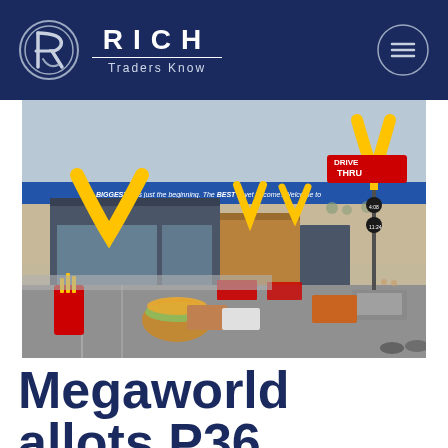RICH Traders Know
[Figure (photo): Aerial view of a large McDonald's restaurant complex with the iconic golden arches signage, a Drive-Thru lane, parking lot filled with cars, and a construction site in the background with a banner reading 'The BIGGEST was just the beginning. The BEST is yet to come. Welcome to']
Megaworld allots P36